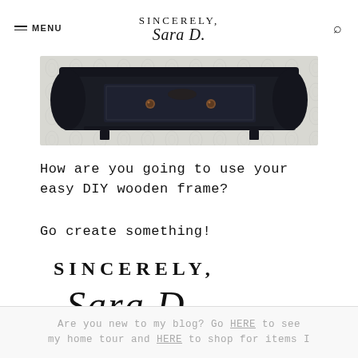SINCERELY, Sara D. — MENU / Search
[Figure (photo): A dark navy/black ornate wooden dresser or entry table with two small round knobs on the drawer, against a light gray patterned wallpaper background.]
How are you going to use your easy DIY wooden frame?
Go create something!
[Figure (logo): Sincerely, Sara D. logo — 'SINCERELY,' in spaced serif caps above 'Sara D.' in cursive script.]
Are you new to my blog? Go HERE to see my home tour and HERE to shop for items I